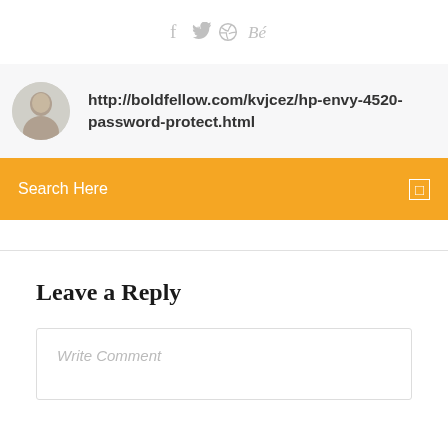[Figure (infographic): Social media icons row: Facebook (f), Twitter (bird), Dribbble (basketball), Behance (Be)]
http://boldfellow.com/kvjcez/hp-envy-4520-password-protect.html
Search Here
Leave a Reply
Write Comment